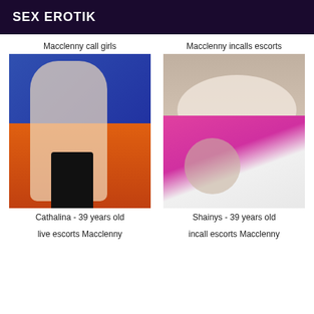SEX EROTIK
Macclenny call girls
[Figure (photo): Photo of a woman posing in lingerie against an orange couch with blue background]
Cathalina - 39 years old
live escorts Macclenny
Macclenny incalls escorts
[Figure (photo): Close-up photo of a woman in a pink bra and white shirt]
Shainys - 39 years old
incall escorts Macclenny